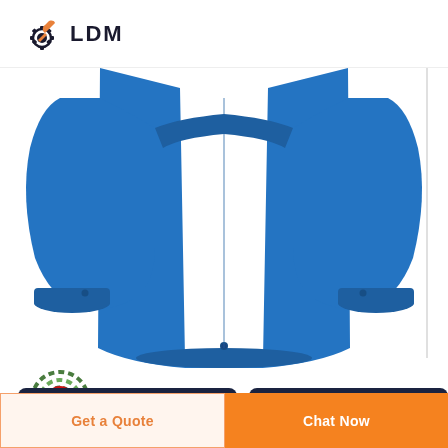[Figure (logo): LDM logo with gear/wrench icon in dark navy and orange, text LDM in bold]
[Figure (photo): Blue work jacket/coat shown from the back, royal blue color, with cuffed sleeves and a small button at the bottom center]
[Figure (logo): DEEKON brand logo: circular camouflage-pattern badge with red D letter in center, and red bold text DEEKON below]
[Figure (photo): Two dark navy blue product thumbnail images partially visible at bottom]
Get a Quote
Chat Now